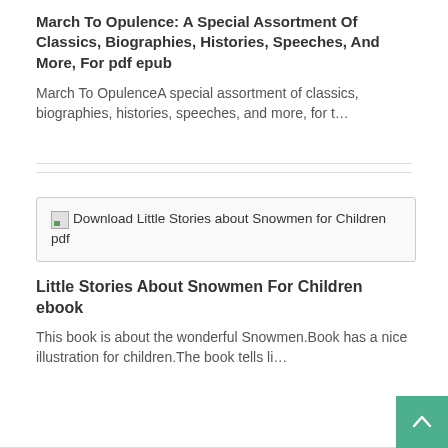March To Opulence: A Special Assortment Of Classics, Biographies, Histories, Speeches, And More, For pdf epub
March To OpulenceA special assortment of classics, biographies, histories, speeches, and more, for t…
[Figure (other): Broken image placeholder for 'Download Little Stories about Snowmen for Children pdf']
Little Stories About Snowmen For Children ebook
This book is about the wonderful Snowmen.Book has a nice illustration for children.The book tells li…